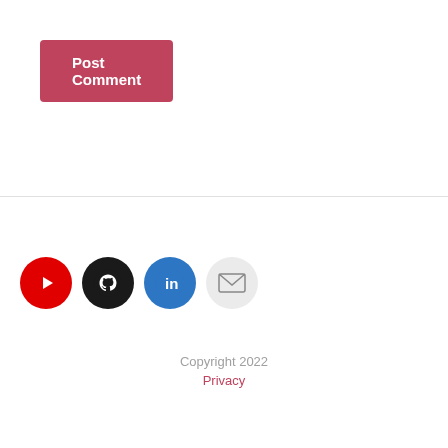Post Comment
[Figure (infographic): Row of four social media icon circles: YouTube (red), GitHub (dark), LinkedIn (blue), Email (light gray)]
Copyright 2022
Privacy